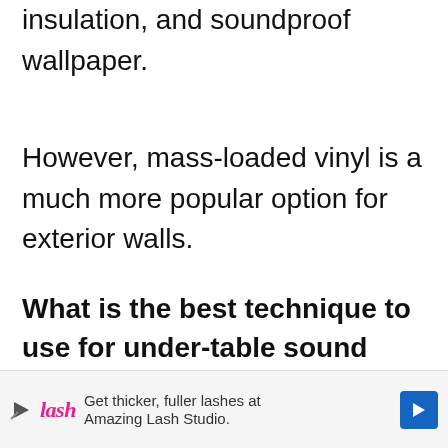insulation, and soundproof wallpaper.
However, mass-loaded vinyl is a much more popular option for exterior walls.
What is the best technique to use for under-table sound absorption?
If you're looking for under-table sound absorption, the best option is
[Figure (other): Advertisement banner for Amazing Lash Studio with text 'Get thicker, fuller lashes at Amazing Lash Studio.' and navigation arrow icon]